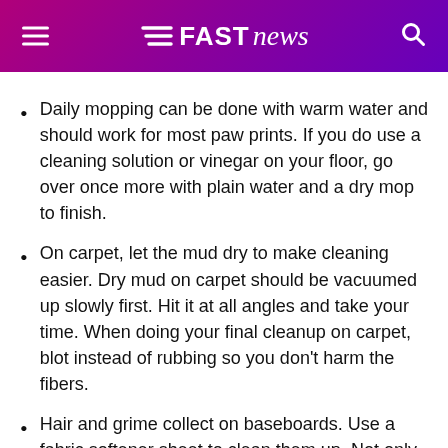FAST news
Daily mopping can be done with warm water and should work for most paw prints. If you do use a cleaning solution or vinegar on your floor, go over once more with plain water and a dry mop to finish.
On carpet, let the mud dry to make cleaning easier. Dry mud on carpet should be vacuumed up slowly first. Hit it at all angles and take your time. When doing your final cleanup on carpet, blot instead of rubbing so you don't harm the fibers.
Hair and grime collect on baseboards. Use a fabric softener sheet to clean them up. Not only will you get clean baseboards, but you'll discover they will